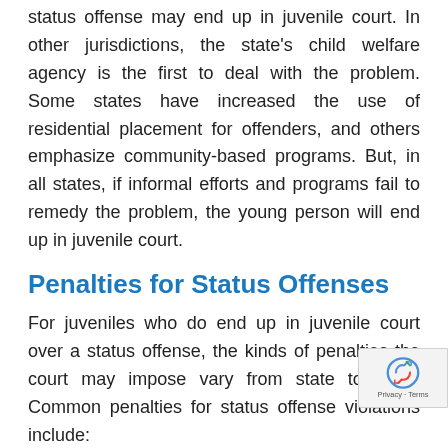status offense may end up in juvenile court. In other jurisdictions, the state's child welfare agency is the first to deal with the problem. Some states have increased the use of residential placement for offenders, and others emphasize community-based programs. But, in all states, if informal efforts and programs fail to remedy the problem, the young person will end up in juvenile court.
Penalties for Status Offenses
For juveniles who do end up in juvenile court over a status offense, the kinds of penalties the court may impose vary from state to state. Common penalties for status offense violations include:
suspending the juvenile's driver's license
requiring the juvenile to pay a fine or rest…
placing the juvenile with someone other than the parent or guardian (such as a relative, foster…)